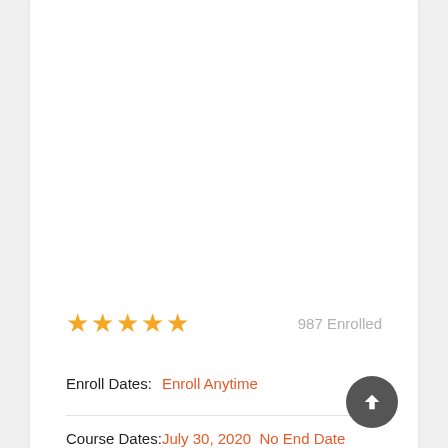★★★★★   987 Enrolled
Enroll Dates: Enroll Anytime
Course Dates: July 30, 2020  No End Date